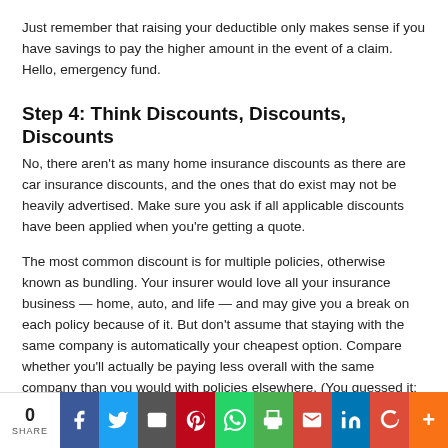Just remember that raising your deductible only makes sense if you have savings to pay the higher amount in the event of a claim. Hello, emergency fund.
Step 4: Think Discounts, Discounts, Discounts
No, there aren't as many home insurance discounts as there are car insurance discounts, and the ones that do exist may not be heavily advertised. Make sure you ask if all applicable discounts have been applied when you're getting a quote.
The most common discount is for multiple policies, otherwise known as bundling. Your insurer would love all your insurance business — home, auto, and life — and may give you a break on each policy because of it. But don't assume that staying with the same company is automatically your cheapest option. Compare whether you'll actually be paying less overall with the same company than you would with policies elsewhere. (You guessed it: Get some quotes!)
[Figure (infographic): Social share bar with count 0 and SHARE label, followed by buttons for Facebook, Twitter, Email, Pinterest, WhatsApp, Print, Gmail, LinkedIn, Google+, and More]